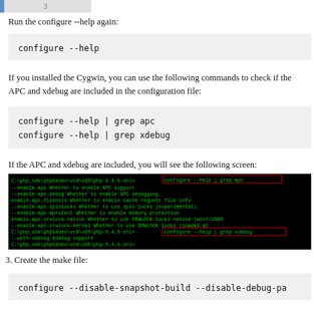[Figure (screenshot): Top portion of a numbered step tab/button (step 3 area)]
Run the configure --help again:
[Figure (screenshot): Code block showing: configure --help]
If you installed the Cygwin, you can use the following commands to check if the APC and xdebug are included in the configuration file:
[Figure (screenshot): Code block showing: configure --help | grep apc
configure --help | grep xdebug]
If the APC and xdebug are included, you will see the following screen:
[Figure (screenshot): Terminal screenshot showing output of configure --help | grep apc and configure --help | grep xdebug commands with green text on black background]
3. Create the make file:
[Figure (screenshot): Code block showing: configure --disable-snapshot-build --disable-debug-pa]